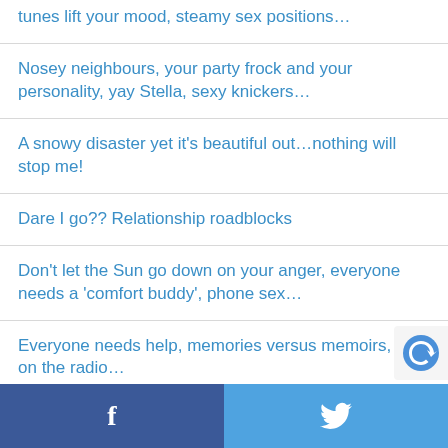tunes lift your mood, steamy sex positions…
Nosey neighbours, your party frock and your personality, yay Stella, sexy knickers…
A snowy disaster yet it's beautiful out…nothing will stop me!
Dare I go?? Relationship roadblocks
Don't let the Sun go down on your anger, everyone needs a 'comfort buddy', phone sex…
Everyone needs help, memories versus memoirs, sex on the radio…
Facebook | Twitter